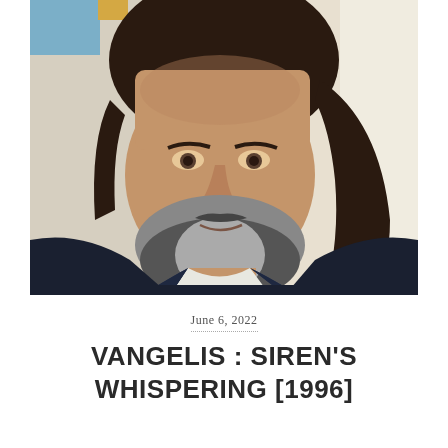[Figure (photo): Close-up portrait photograph of a middle-aged man with long dark hair, a grey and dark beard, wearing a dark jacket and white shirt. Blurred background with blue and yellow tones.]
June 6, 2022
VANGELIS : SIREN'S WHISPERING [1996]